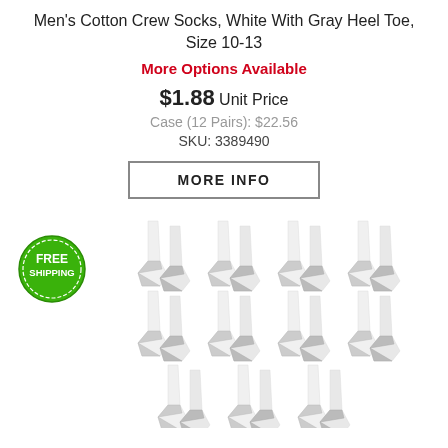Men's Cotton Crew Socks, White With Gray Heel Toe, Size 10-13
More Options Available
$1.88 Unit Price
Case (12 Pairs): $22.56
SKU: 3389490
MORE INFO
[Figure (photo): Multiple pairs of Men's Cotton Crew Socks, white with gray heel and toe, displayed in a grid arrangement. A green 'FREE SHIPPING' badge appears in the top left.]
Men's Cotton Crew Socks, White With Gray Heel Toe, Size